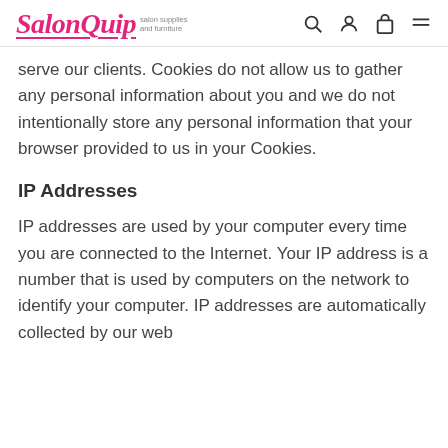SalonQuip salon supplies and furniture
serve our clients. Cookies do not allow us to gather any personal information about you and we do not intentionally store any personal information that your browser provided to us in your Cookies.
IP Addresses
IP addresses are used by your computer every time you are connected to the Internet. Your IP address is a number that is used by computers on the network to identify your computer. IP addresses are automatically collected by our web